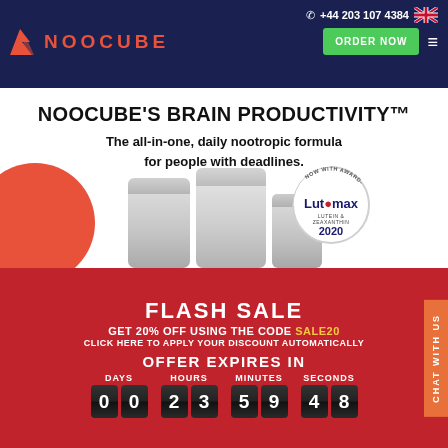+44 203 107 4384
[Figure (logo): NooCube logo with red checkmark icon and red uppercase NOOCUBE text on dark blue background]
NOOCUBE'S BRAIN PRODUCTIVITY™
The all-in-one, daily nootropic formula for people with deadlines.
[Figure (photo): Three white supplement bottles with Lutemax 2020 award badge]
FLASH SALE
GET 20% OFF USING THE CODE SALE20
CLICK HERE TO APPLY YOUR DISCOUNT AUTOMATICALLY
OFFER EXPIRES IN
DAYS 00 HOURS 23 MINUTES 59 SECONDS 48